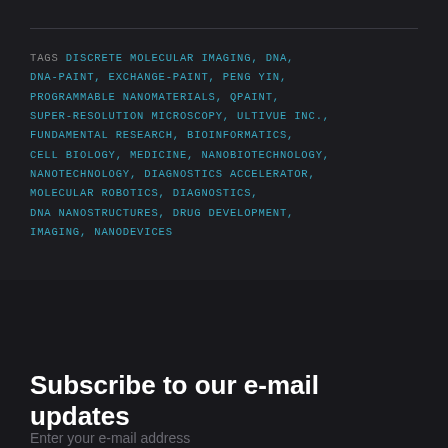TAGS DISCRETE MOLECULAR IMAGING, DNA, DNA-PAINT, EXCHANGE-PAINT, PENG YIN, PROGRAMMABLE NANOMATERIALS, QPAINT, SUPER-RESOLUTION MICROSCOPY, ULTIVUE INC., FUNDAMENTAL RESEARCH, BIOINFORMATICS, CELL BIOLOGY, MEDICINE, NANOBIOTECHNOLOGY, NANOTECHNOLOGY, DIAGNOSTICS ACCELERATOR, MOLECULAR ROBOTICS, DIAGNOSTICS, DNA NANOSTRUCTURES, DRUG DEVELOPMENT, IMAGING, NANODEVICES
Subscribe to our e-mail updates
Enter your e-mail address